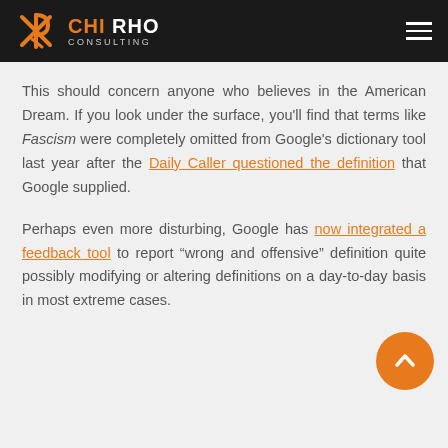Chi Rho Consulting
This should concern anyone who believes in the American Dream. If you look under the surface, you'll find that terms like Fascism were completely omitted from Google's dictionary tool last year after the Daily Caller questioned the definition that Google supplied.
Perhaps even more disturbing, Google has now integrated a feedback tool to report “wrong and offensive” definitions, quite possibly modifying or altering definitions on a day-to-day basis in most extreme cases.